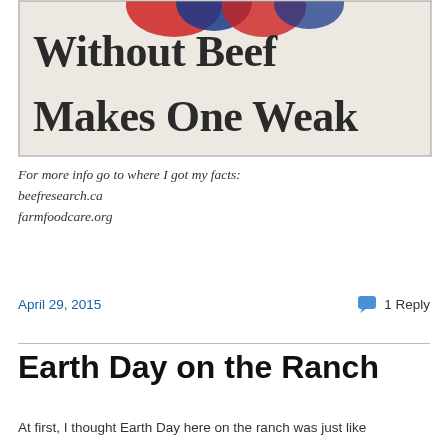[Figure (photo): Photo of a sign that reads 'Without Beef Makes One Weak' with red and blue decorative elements at the top]
For more info go to where I got my facts:
beefresearch.ca
farmfoodcare.org
April 29, 2015    1 Reply
Earth Day on the Ranch
At first, I thought Earth Day here on the ranch was just like